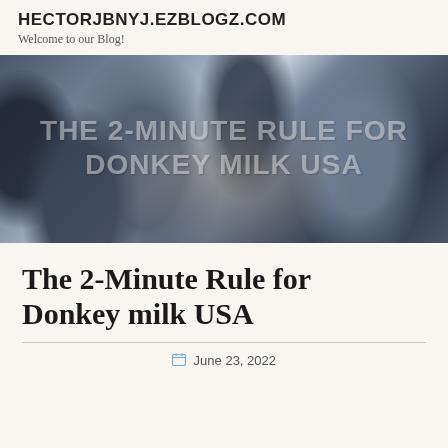HECTORJBNYJ.EZBLOGZ.COM
Welcome to our Blog!
[Figure (photo): Business professionals shaking hands across a table at a meeting, with overlaid text reading THE 2-MINUTE RULE FOR DONKEY MILK USA]
The 2-Minute Rule for Donkey milk USA
June 23, 2022